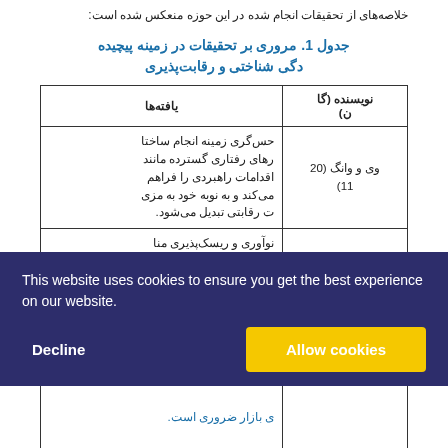خلاصه‌های از تحقیقات انجام شده در این حوزه منعکس شده است:
جدول 1. مروری بر تحقیقات در زمینه پیچیدگی شناختی و رقابت‌پذیری
| نویسنده (گان) | یافته‌ها |
| --- | --- |
| وی و وانگ (2011) | حس‌گری زمینه انجام ساختارهای رفتاری گسترده مانند اقدامات راهبردی را فراهم می‌کند و به نوبه خود به مزیت رقابتی تبدیل می‌شود. |
| اوکاس و انگو (2011) | نوآوری و ریسک‌پذیری منابع مهمی برای ساخت، حفظ و نیرومندسازی قابلیت‌های رقابتی هستند. |
|  | ی بازار ضروری است. |
[Figure (screenshot): Cookie consent banner with Decline and Allow cookies buttons]